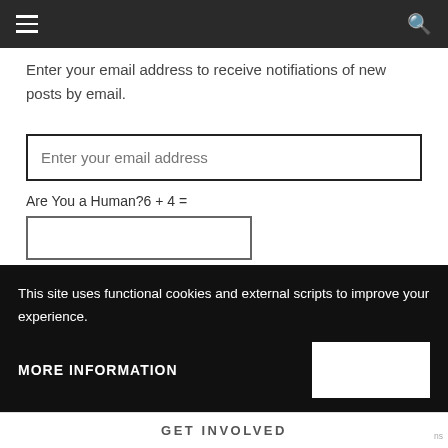Navigation bar with hamburger menu and search icon
Enter your email address to receive notifiations of new posts by email.
Enter your email address
Are You a Human?6 + 4 =
Please accept terms of conditions
This site uses functional cookies and external scripts to improve your experience.
MORE INFORMATION
GET INVOLVED